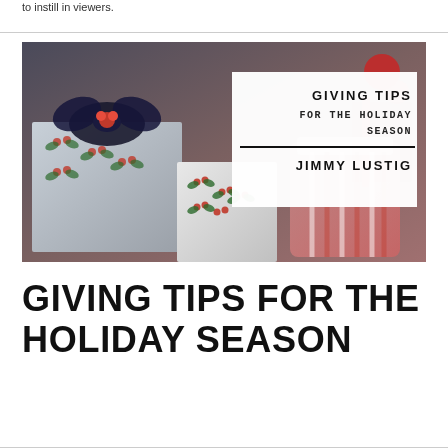to instill in viewers.
[Figure (photo): Holiday gifts wrapped in holly-patterned paper with a dark navy bow, alongside a glass jar filled with peppermint candy canes. An overlay text box reads: GIVING TIPS FOR THE HOLIDAY SEASON / JIMMY LUSTIG]
GIVING TIPS FOR THE HOLIDAY SEASON